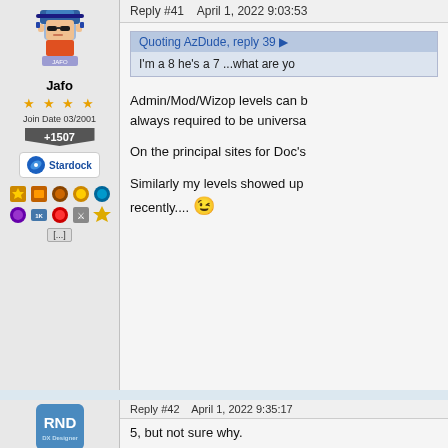Reply #41    April 1, 2022 9:03:53
Jafo
Join Date 03/2001
+1507
Stardock
Quoting AzDude, reply 39
I'm a 8 he's a 7 ...what are yo
Admin/Mod/Wizop levels can b always required to be universa
On the principal sites for Doc's
Similarly my levels showed up recently....
Reply #42    April 1, 2022 9:35:17
RedneckDude
5, but not sure why.